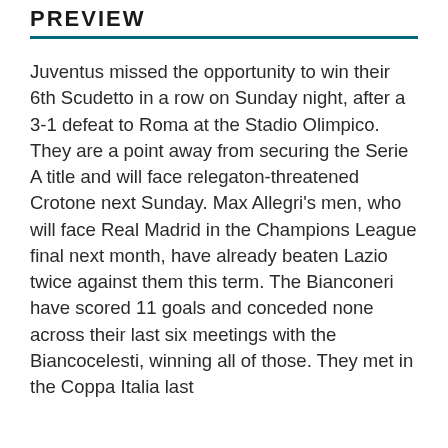PREVIEW
Juventus missed the opportunity to win their 6th Scudetto in a row on Sunday night, after a 3-1 defeat to Roma at the Stadio Olimpico. They are a point away from securing the Serie A title and will face relegaton-threatened Crotone next Sunday. Max Allegri's men, who will face Real Madrid in the Champions League final next month, have already beaten Lazio twice against them this term. The Bianconeri have scored 11 goals and conceded none across their last six meetings with the Biancocelesti, winning all of those. They met in the Coppa Italia last